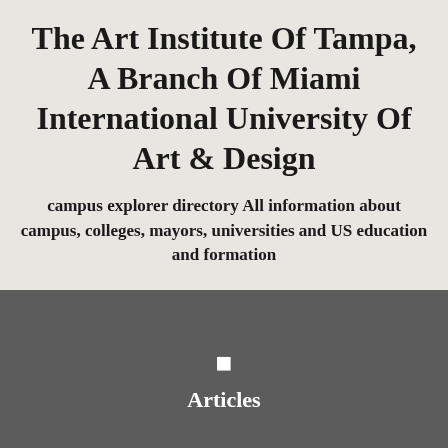The Art Institute Of Tampa, A Branch Of Miami International University Of Art & Design
campus explorer directory All information about campus, colleges, mayors, universities and US education and formation
Articles